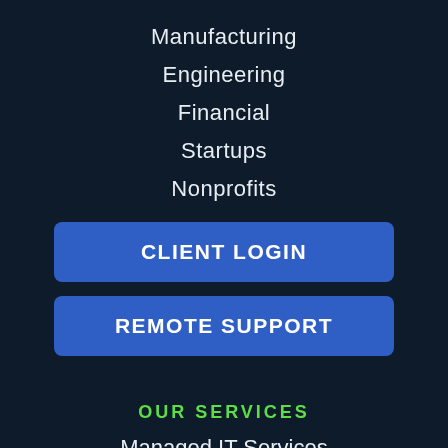Manufacturing
Engineering
Financial
Startups
Nonprofits
CLIENT LOGIN
REMOTE SUPPORT
OUR SERVICES
Managed IT Services